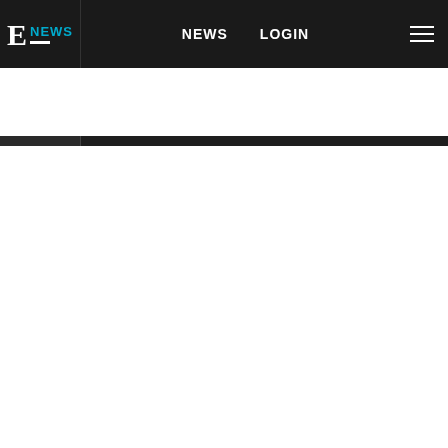E! NEWS  NEWS  LOGIN
House of the Dragon: Season 1 FINALE Cast Reactions!
[Figure (screenshot): YouTube video embed showing ZAYN - Vibez (Official Video) with a red YouTube play button over a dark blue cinematic scene with a blonde male figure]